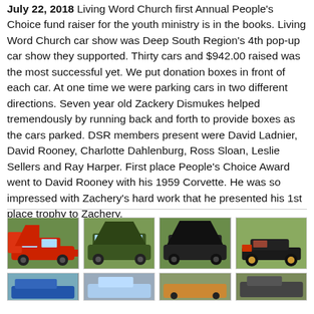July 22, 2018 Living Word Church first Annual People's Choice fund raiser for the youth ministry is in the books. Living Word Church car show was Deep South Region's 4th pop-up car show they supported. Thirty cars and $942.00 raised was the most successful yet. We put donation boxes in front of each car. At one time we were parking cars in two different directions. Seven year old Zackery Dismukes helped tremendously by running back and forth to provide boxes as the cars parked. DSR members present were David Ladnier, David Rooney, Charlotte Dahlenburg, Ross Sloan, Leslie Sellers and Ray Harper. First place People's Choice Award went to David Rooney with his 1959 Corvette. He was so impressed with Zachery's hard work that he presented his 1st place trophy to Zachery.
[Figure (photo): Grid of car show photos showing classic cars on a grassy field]